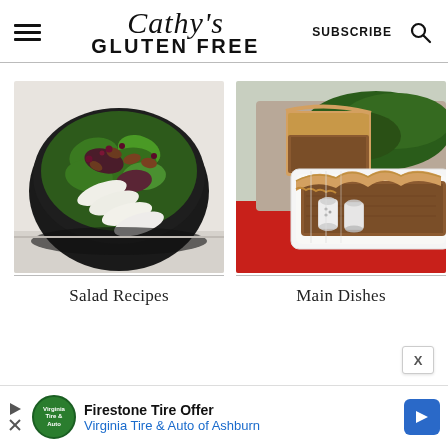Cathy's GLUTEN FREE | SUBSCRIBE
[Figure (photo): Bowl of mixed green salad with goat cheese slices, pecans, and cranberries on a dark plate]
Salad Recipes
[Figure (photo): Meat pie in a white baking dish with a golden flaky crust, salt and pepper shakers visible on a red surface]
Main Dishes
Firestone Tire Offer | Virginia Tire & Auto of Ashburn